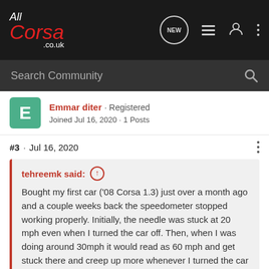[Figure (logo): AllCorsa.co.uk logo on dark navigation bar with icons: NEW chat bubble, list, user, and dots menu]
Search Community
Emmar diter · Registered
Joined Jul 16, 2020 · 1 Posts
#3 · Jul 16, 2020
tehreemk said: ↑
Bought my first car ('08 Corsa 1.3) just over a month ago and a couple weeks back the speedometer stopped working properly. Initially, the needle was stuck at 20 mph even when I turned the car off. Then, when I was doing around 30mph it would read as 60 mph and get stuck there and creep up more whenever I turned the car off and drove again.
Click to expand...
Hi everyone! I know this is an old thread but I thought I would post what I found as I also had a problem with my speedo on